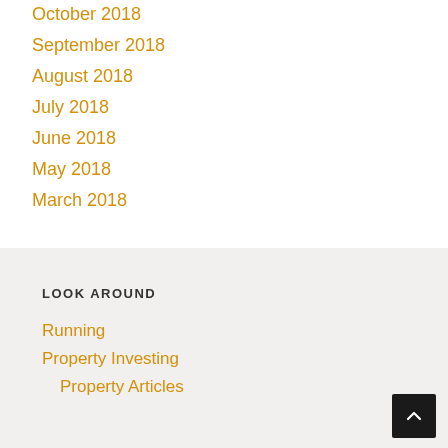October 2018
September 2018
August 2018
July 2018
June 2018
May 2018
March 2018
LOOK AROUND
Running
Property Investing
Property Articles